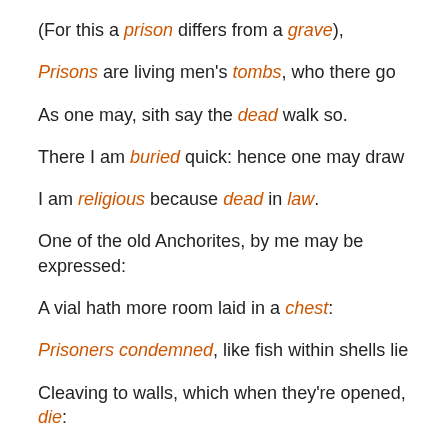(For this a prison differs from a grave),
Prisons are living men's tombs, who there go
As one may, sith say the dead walk so.
There I am buried quick: hence one may draw
I am religious because dead in law.
One of the old Anchorites, by me may be expressed:
A vial hath more room laid in a chest:
Prisoners condemned, like fish within shells lie
Cleaving to walls, which when they're opened, die:
So they, when taken forth, unless a pardon